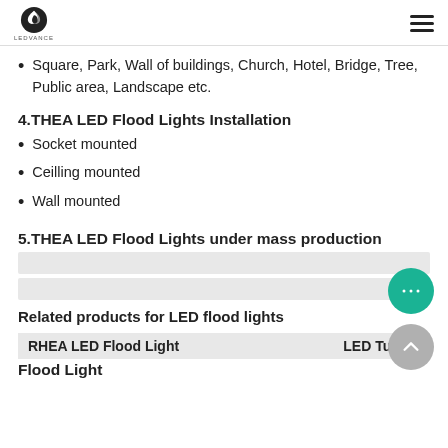Logo and navigation menu
Square, Park, Wall of buildings, Church, Hotel, Bridge, Tree, Public area, Landscape etc.
4.THEA LED Flood Lights Installation
Socket mounted
Ceilling mounted
Wall mounted
5.THEA LED Flood Lights under mass production
[Figure (other): Two gray placeholder bars representing mass production images]
Related products for LED flood lights
| RHEA LED Flood Light | LED Tunnel Flood Light |
| --- | --- |